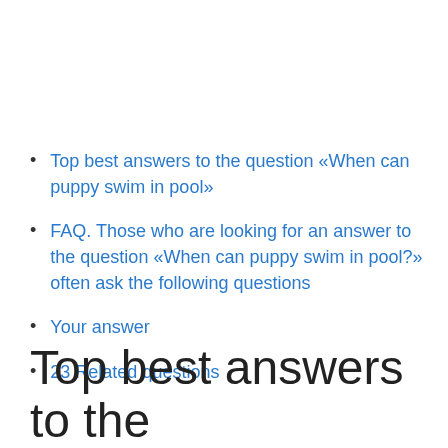Top best answers to the question «When can puppy swim in pool»
FAQ. Those who are looking for an answer to the question «When can puppy swim in pool?» often ask the following questions
Your answer
23 Related questions
Top best answers to the